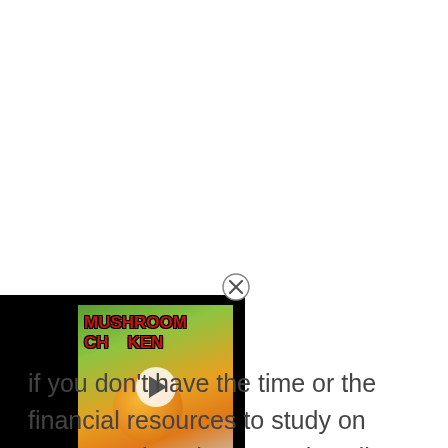[Figure (screenshot): A video player overlay showing a recipe video thumbnail for 'Mushroom Chicken' with a play button, black bars on the sides, and a close (X) button in the top right of the video widget. The thumbnail shows food imagery with orange/yellow tones and green background.]
If you don't have the time or the financial resources to study on campus, choosing to study online may be the